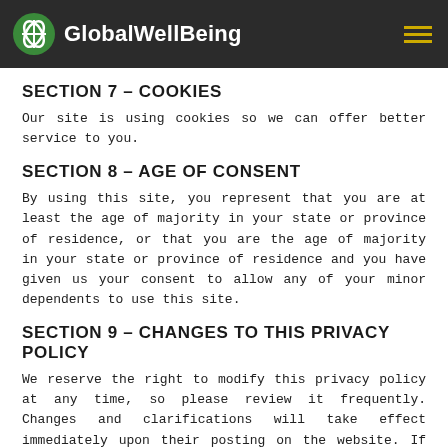GlobalWellBeing
SECTION 7 – COOKIES
Our site is using cookies so we can offer better service to you.
SECTION 8 – AGE OF CONSENT
By using this site, you represent that you are at least the age of majority in your state or province of residence, or that you are the age of majority in your state or province of residence and you have given us your consent to allow any of your minor dependents to use this site.
SECTION 9 – CHANGES TO THIS PRIVACY POLICY
We reserve the right to modify this privacy policy at any time, so please review it frequently. Changes and clarifications will take effect immediately upon their posting on the website. If we make material changes to this policy, we will notify you